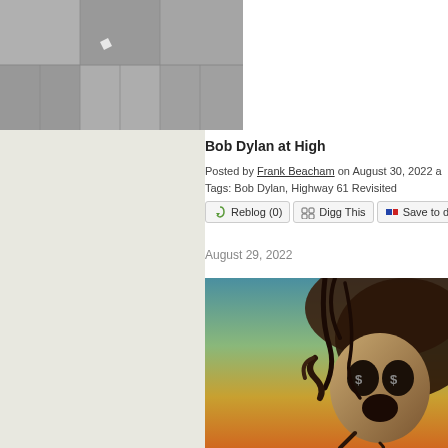[Figure (photo): Black and white photograph visible at top right, partially cropped]
Bob Dylan at High
Posted by Frank Beacham on August 30, 2022 a
Tags: Bob Dylan, Highway 61 Revisited
Reblog (0)   Digg This   Save to del.i
August 29, 2022
[Figure (illustration): Surrealist illustration featuring a dark skull-like creature with tentacles, swirling forms and dollar signs in the eye sockets, warm yellow and brown tones]